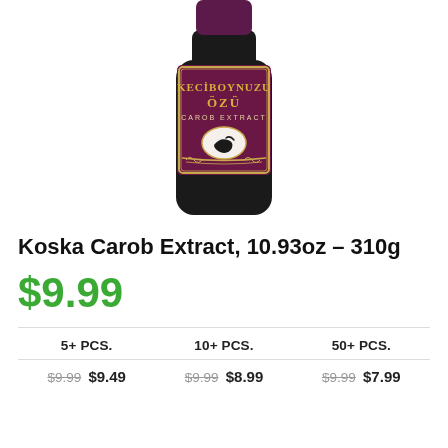[Figure (photo): A dark glass bottle of Koska Keciboynuzu Özu (Carob Extract) with a purple and gold label showing the product name and a carob pod illustration.]
Koska Carob Extract, 10.93oz – 310g
$9.99
| 5+ PCS. | 10+ PCS. | 50+ PCS. |
| --- | --- | --- |
| $9.99  $9.49 | $9.99  $8.99 | $9.99  $7.99 |